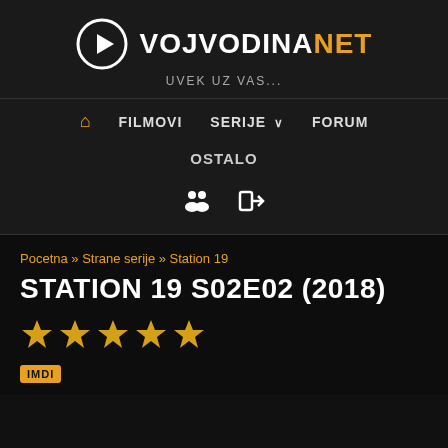[Figure (logo): VojvodinaNet logo with play button circle icon, white text VOJVODINA and orange text NET, tagline UVEK UZ VAS...]
FILMOVI   SERIJE v   FORUM
OSTALO
[Figure (infographic): Two icons: people/group icon and login arrow icon]
Pocetna » Strane serije » Station 19
STATION 19 S02E02 (2018)
[Figure (infographic): Five gold star rating icons followed by IMDB badge]